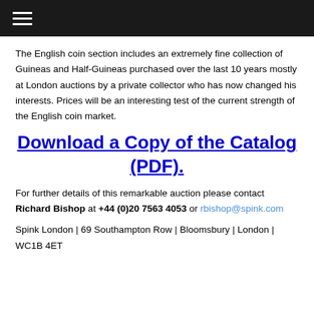☰
The English coin section includes an extremely fine collection of Guineas and Half-Guineas purchased over the last 10 years mostly at London auctions by a private collector who has now changed his interests. Prices will be an interesting test of the current strength of the English coin market.
Download a Copy of the Catalog (PDF)
For further details of this remarkable auction please contact Richard Bishop at +44 (0)20 7563 4053 or rbishop@spink.com
Spink London | 69 Southampton Row | Bloomsbury | London | WC1B 4ET